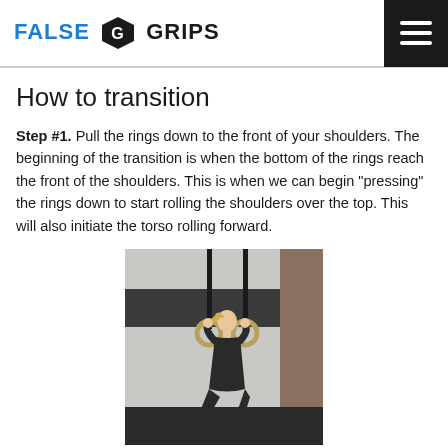FALSE GRIPS
How to transition
Step #1. Pull the rings down to the front of your shoulders. The beginning of the transition is when the bottom of the rings reach the front of the shoulders. This is when we can begin "pressing" the rings down to start rolling the shoulders over the top. This will also initiate the torso rolling forward.
[Figure (photo): A person performing a gymnastics ring exercise in a gym, holding gymnastic rings at shoulder height while leaning back, with black floor and white/dark walls in the background.]